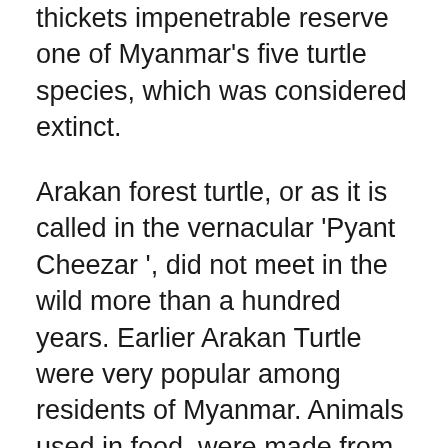thickets impenetrable reserve one of Myanmar's five turtle species, which was considered extinct.
Arakan forest turtle, or as it is called in the vernacular 'Pyant Cheezar ', did not meet in the wild more than a hundred years. Earlier Arakan Turtle were very popular among residents of Myanmar. Animals used in food, were made from these medications. As a result, the population of turtles has been almost completely destroyed. Now scientists hope that the discovered specimens demonstrate the revival of the species. Last week we told you about a unique case of the 'snail's life' – of a wounded turtle Lucky, who lost her front legs after a meeting with a wild